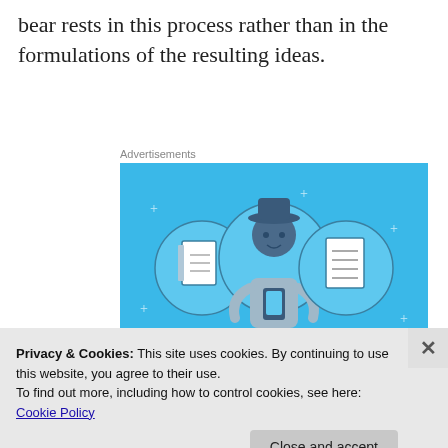bear rests in this process rather than in the formulations of the resulting ideas.
Advertisements
[Figure (illustration): Day One journaling app advertisement on a blue background. Shows a person holding a phone with two notebook icons on either side, text reads 'DAY ONE - The only journaling app you'll ever need.' with a button partially visible at bottom.]
Privacy & Cookies: This site uses cookies. By continuing to use this website, you agree to their use.
To find out more, including how to control cookies, see here: Cookie Policy
Close and accept